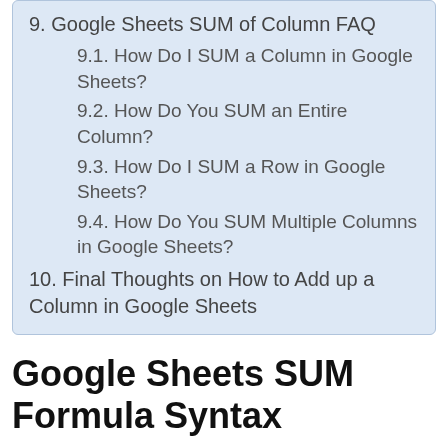9. Google Sheets SUM of Column FAQ
9.1. How Do I SUM a Column in Google Sheets?
9.2. How Do You SUM an Entire Column?
9.3. How Do I SUM a Row in Google Sheets?
9.4. How Do You SUM Multiple Columns in Google Sheets?
10. Final Thoughts on How to Add up a Column in Google Sheets
Google Sheets SUM Formula Syntax
The syntax for the SUM formula in Google Sheets